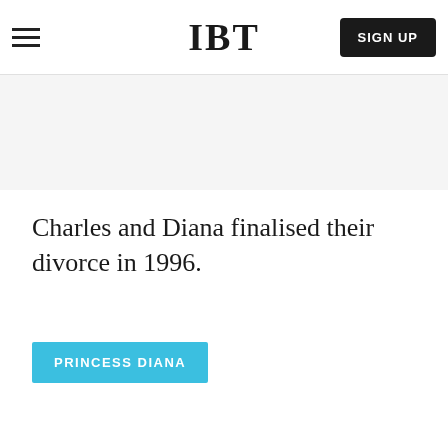IBT | SIGN UP
Charles and Diana finalised their divorce in 1996.
PRINCESS DIANA